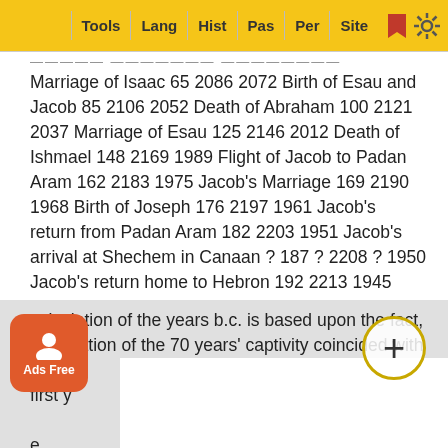Tools | Lang | Hist | Pas | Per | Site
Marriage of Isaac 65 2086 2072 Birth of Esau and Jacob 85 2106 2052 Death of Abraham 100 2121 2037 Marriage of Esau 125 2146 2012 Death of Ishmael 148 2169 1989 Flight of Jacob to Padan Aram 162 2183 1975 Jacob's Marriage 169 2190 1968 Birth of Joseph 176 2197 1961 Jacob's return from Padan Aram 182 2203 1951 Jacob's arrival at Shechem in Canaan ? 187 ? 2208 ? 1950 Jacob's return home to Hebron 192 2213 1945 Sale of Joseph 193 2214 1944 Death of Isaac 205 2226 1932 Promotion of Joseph in Egypt 206 2227 1931 Removal of Israel to Egypt 1 215 2236 1922 Death of Jacob 17 232 2253 1905 Death of Joseph 71 286 2307 1851 Birth of Moses 350 565 2586 1572 Exodus of Israel from Egypt 430 645 2666 1492
calculation of the years b.c. is based upon the fact, termination of the 70 years' captivity coincided with the first y e year 5 the year 4